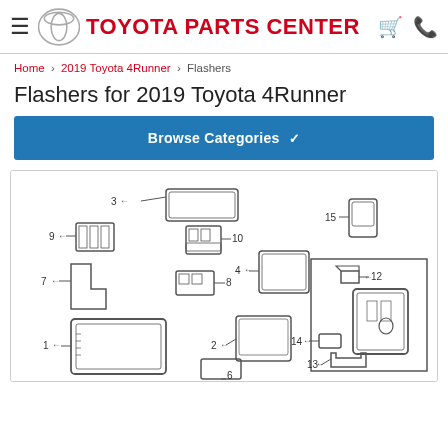TOYOTA PARTS CENTER
Home › 2019 Toyota 4Runner › Flashers
Flashers for 2019 Toyota 4Runner
Browse Categories
[Figure (engineering-diagram): Exploded parts diagram for Flashers for 2019 Toyota 4Runner showing numbered components 1-15 with call-out lines. Parts include fuse boxes, relays, and flasher units labeled 1 through 15.]